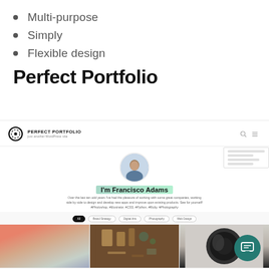Multi-purpose
Simply
Flexible design
Perfect Portfolio
[Figure (screenshot): Screenshot of 'Perfect Portfolio' WordPress theme showing a header with logo, a profile photo of Francisco Adams with bio text and hashtags, filter tabs (All, Brand Strategy, Digital Arts, Photography, Web Design), and a portfolio image grid with three photos. A teal chat button is visible in the bottom right corner.]